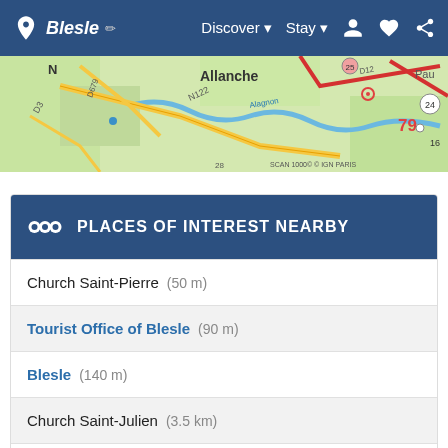Blesle | Discover | Stay
[Figure (map): Topographic map showing Allanche region with roads N122, D679, D3, route 24, D12, river Alagnon, and number 79 marked. Credit: SCAN 1000© IGN PARIS]
PLACES OF INTEREST NEARBY
Church Saint-Pierre (50 m)
Tourist Office of Blesle (90 m)
Blesle (140 m)
Church Saint-Julien (3.5 km)
The Alagnon Gorges (3.5 km)
The Chapel of St. Magdalene in Chalet (5.8 km)